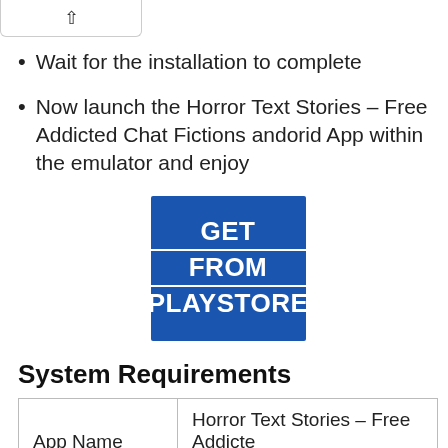Wait for the installation to complete
Now launch the Horror Text Stories – Free Addicted Chat Fictions andorid App within the emulator and enjoy
[Figure (other): Blue button with text GET FROM PLAYSTORE]
System Requirements
|  |  |
| --- | --- |
| App Name | Horror Text Stories – Free Addicted Chat Fictions |
| Developer | HORROR TEXT STORIES & LOVE |